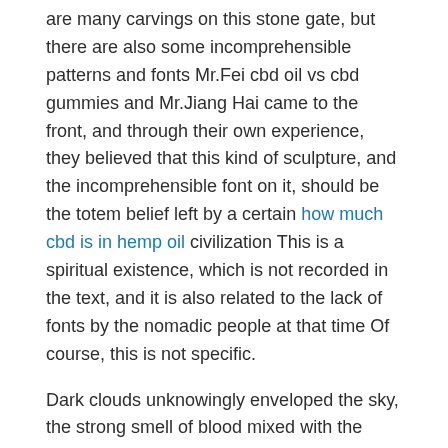are many carvings on this stone gate, but there are also some incomprehensible patterns and fonts Mr.Fei cbd oil vs cbd gummies and Mr.Jiang Hai came to the front, and through their own experience, they believed that this kind of sculpture, and the incomprehensible font on it, should be the totem belief left by a certain how much cbd is in hemp oil civilization This is a spiritual existence, which is not recorded in the text, and it is also related to the lack of fonts by the nomadic people at that time Of course, this is not specific.
Dark clouds unknowingly enveloped the sky, the strong smell of blood mixed with the border of Baoxiang Kingdom, and the fragrance of many exotic flowers and plants, along with the gradually rising wind, blew into the city gate hole and floated to the countless among the soldiers.A low humming sound came from the mouths of many female soldiers of the daughter country.The precious Three Realms Whispering Tree was used as a coffin, which contained the body of the wolf demon and stayed cbd hybrid gummies a stone s throw away from the city gate.The female soldiers transporting the coffin, among them the women of the